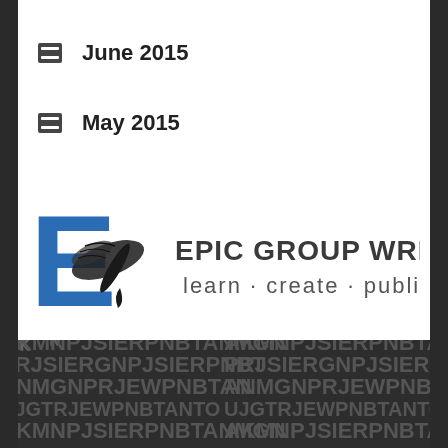June 2015
May 2015
[Figure (logo): Epic Group Writers logo with large blue letter E overlaid with a black winged quill pen, alongside bold dark gray text 'EPIC GROUP WRITERS' and subtitle 'learn · create · publish']